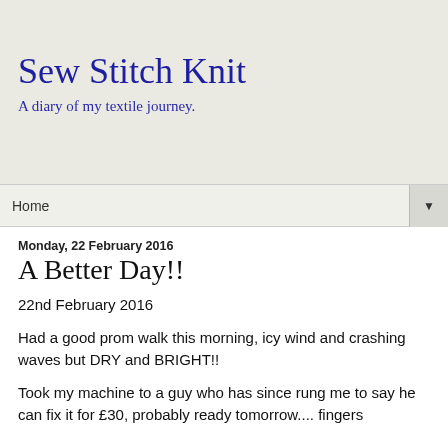Sew Stitch Knit
A diary of my textile journey.
Home ▼
Monday, 22 February 2016
A Better Day!!
22nd February 2016
Had a good prom walk this morning, icy wind and crashing waves but DRY and BRIGHT!!
Took my machine to a guy who has since rung me to say he can fix it for £30, probably ready tomorrow.... fingers